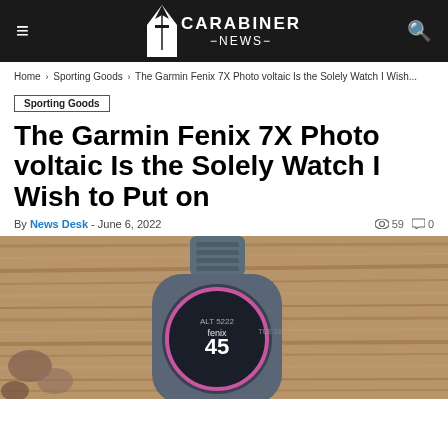CARABINER NEWS
Home › Sporting Goods › The Garmin Fenix 7X Photo voltaic Is the Solely Watch I Wish...
Sporting Goods
The Garmin Fenix 7X Photo voltaic Is the Solely Watch I Wish to Put on
By News Desk - June 6, 2022  59  0
[Figure (photo): Close-up photo of a Garmin Fenix 7X smartwatch with a blue/gray band resting on a wooden surface with rocks in the background. The watch face shows 'fenix' branding and the number 45.]